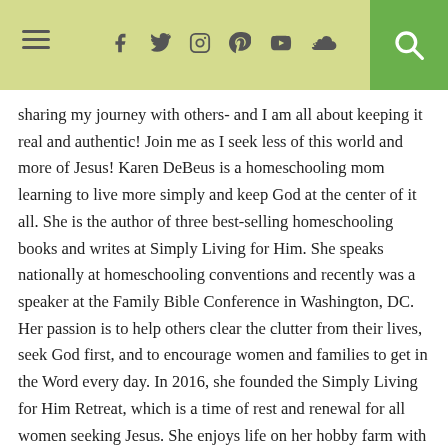Navigation header with hamburger menu, social icons (Facebook, Twitter, Instagram, Pinterest, YouTube, SoundCloud), and search button
sharing my journey with others- and I am all about keeping it real and authentic! Join me as I seek less of this world and more of Jesus! Karen DeBeus is a homeschooling mom learning to live more simply and keep God at the center of it all. She is the author of three best-selling homeschooling books and writes at Simply Living for Him. She speaks nationally at homeschooling conventions and recently was a speaker at the Family Bible Conference in Washington, DC. Her passion is to help others clear the clutter from their lives, seek God first, and to encourage women and families to get in the Word every day. In 2016, she founded the Simply Living for Him Retreat, which is a time of rest and renewal for all women seeking Jesus. She enjoys life on her hobby farm with her husband and four children. Together they are a work-at-home family pursuing a